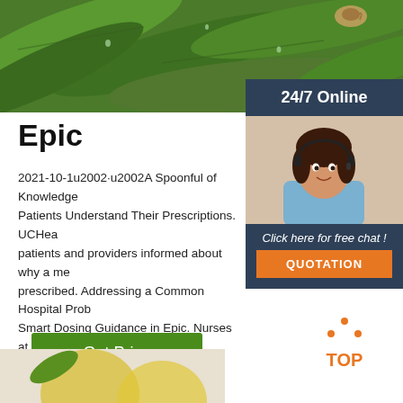[Figure (photo): Close-up photo of green leaves with water droplets and a small snail]
[Figure (photo): Customer service representative with headset smiling, inside a 24/7 Online chat panel with orange QUOTATION button]
Epic
2021-10-1u2002·u2002A Spoonful of Knowledge Helps Patients Understand Their Prescriptions. UCHea... patients and providers informed about why a me... prescribed. Addressing a Common Hospital Prob... Smart Dosing Guidance in Epic. Nurses at El Ca... address symptoms of low potassium using in-sys... for each dose.
[Figure (other): Green 'Get Price' button]
[Figure (other): Orange TOP back-to-top icon with dots]
[Figure (photo): Partial bottom image showing yellow fruit/citrus]